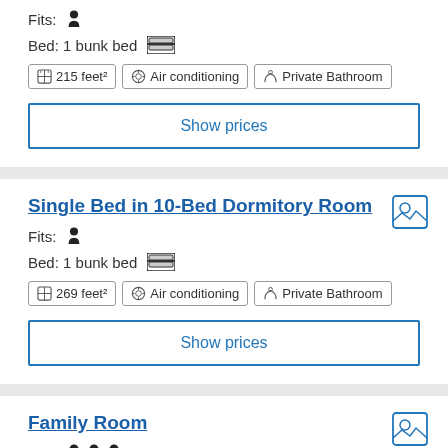Fits: [person icon]
Bed: 1 bunk bed
215 feet² | Air conditioning | Private Bathroom
Show prices
Single Bed in 10-Bed Dormitory Room
Fits: [person icon]
Bed: 1 bunk bed
269 feet² | Air conditioning | Private Bathroom
Show prices
Family Room
Fits: [3 person icons]